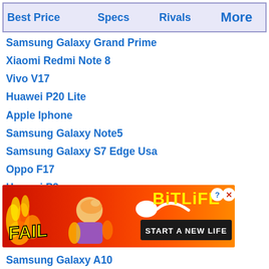Best Price | Specs | Rivals | More
Samsung Galaxy Grand Prime
Xiaomi Redmi Note 8
Vivo V17
Huawei P20 Lite
Apple Iphone
Samsung Galaxy Note5
Samsung Galaxy S7 Edge Usa
Oppo F17
Huawei P8
LG K10 (2018)
Gionee Elife E7 Mini
Samsung Galaxy A71
Samsung Galaxy A10
[Figure (advertisement): BitLife mobile game advertisement banner with FAIL text, animated figure, flame graphics, sperm logo, and START A NEW LIFE button on red/orange gradient background]